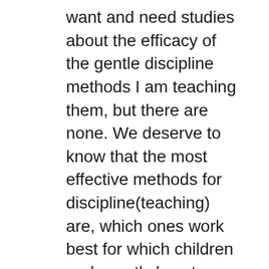want and need studies about the efficacy of the gentle discipline methods I am teaching them, but there are none. We deserve to know that the most effective methods for discipline(teaching) are, which ones work best for which children and exactly how to use them effectively. I have worked with hundreds of children as a teacher and parent educator and so I give the best of over 20 years of experience. But parents need quantifiable data on discipline methods- and that means researchers have to become more